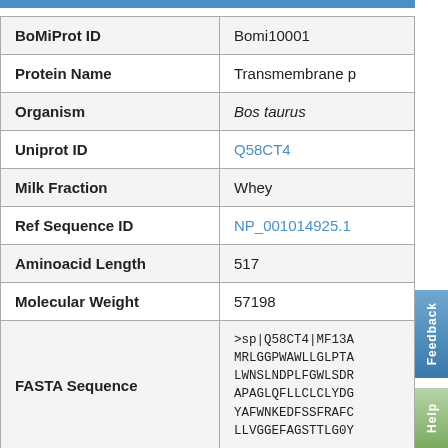| Field | Value |
| --- | --- |
| BoMiProt ID | Bomi10001 |
| Protein Name | Transmembrane p |
| Organism | Bos taurus |
| Uniprot ID | Q58CT4 |
| Milk Fraction | Whey |
| Ref Sequence ID | NP_001014925.1 |
| Aminoacid Length | 517 |
| Molecular Weight | 57198 |
| FASTA Sequence | >sp|Q58CT4|MF13A
MRLGGPWAWLLGLPTA
LWNSLNDPLFGWLSDR
APAGLQFLLCLCLYDG
YAFWNKEDFSSFRAFC
LLVGGEFAGSTTLG0Y |